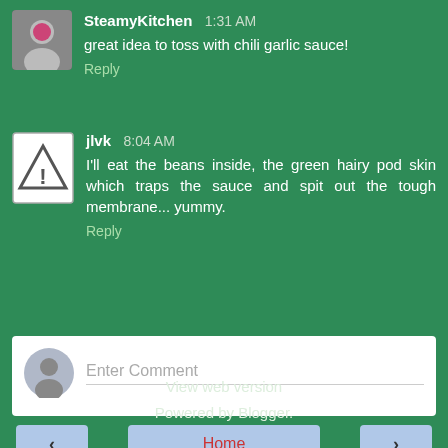SteamyKitchen 1:31 AM
great idea to toss with chili garlic sauce!
Reply
jlvk 8:04 AM
I'll eat the beans inside, the green hairy pod skin which traps the sauce and spit out the tough membrane... yummy.
Reply
Enter Comment
Home
View web version
Powered by Blogger.